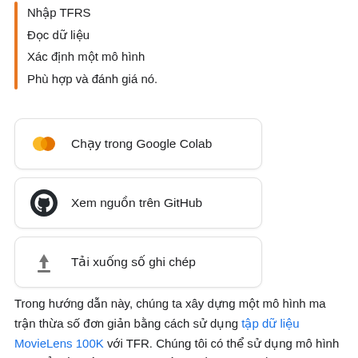Nhập TFRS
Đọc dữ liệu
Xác định một mô hình
Phù hợp và đánh giá nó.
[Figure (other): Button: Chạy trong Google Colab with Colab logo]
[Figure (other): Button: Xem nguồn trên GitHub with GitHub logo]
[Figure (other): Button: Tải xuống số ghi chép with download icon]
Trong hướng dẫn này, chúng ta xây dựng một mô hình ma trận thừa số đơn giản bằng cách sử dụng tập dữ liệu MovieLens 100K với TFR. Chúng tôi có thể sử dụng mô hình này để giới thiệu phim cho một người dùng nhất định.